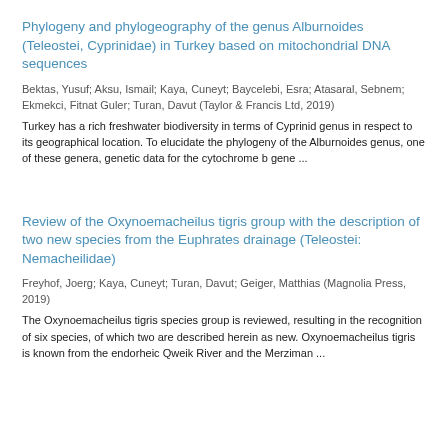Phylogeny and phylogeography of the genus Alburnoides (Teleostei, Cyprinidae) in Turkey based on mitochondrial DNA sequences
Bektas, Yusuf; Aksu, Ismail; Kaya, Cuneyt; Baycelebi, Esra; Atasaral, Sebnem; Ekmekci, Fitnat Guler; Turan, Davut (Taylor & Francis Ltd, 2019)
Turkey has a rich freshwater biodiversity in terms of Cyprinid genus in respect to its geographical location. To elucidate the phylogeny of the Alburnoides genus, one of these genera, genetic data for the cytochrome b gene ...
Review of the Oxynoemacheilus tigris group with the description of two new species from the Euphrates drainage (Teleostei: Nemacheilidae)
Freyhof, Joerg; Kaya, Cuneyt; Turan, Davut; Geiger, Matthias (Magnolia Press, 2019)
The Oxynoemacheilus tigris species group is reviewed, resulting in the recognition of six species, of which two are described herein as new. Oxynoemacheilus tigris is known from the endorheic Qweik River and the Merziman ...